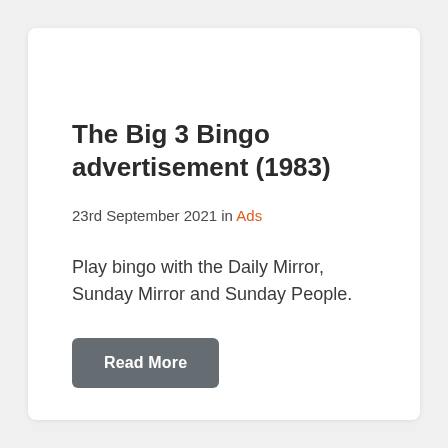The Big 3 Bingo advertisement (1983)
23rd September 2021 in Ads
Play bingo with the Daily Mirror, Sunday Mirror and Sunday People.
Read More